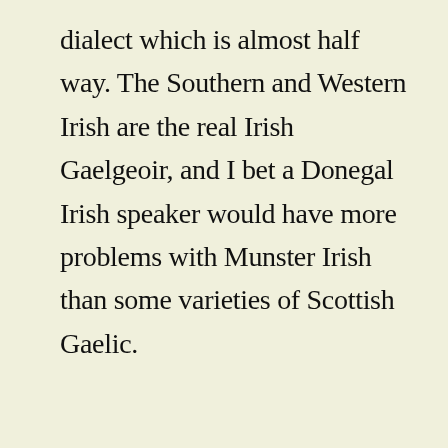dialect which is almost half way. The Southern and Western Irish are the real Irish Gaelgeoir, and I bet a Donegal Irish speaker would have more problems with Munster Irish than some varieties of Scottish Gaelic.
[Figure (screenshot): Cookie consent modal overlay with muted teal/sage background. Contains title 'Manage Cookie Consent' with an X close button, descriptive text 'We use cookies to optimise our website and our service.', a light cream button labeled 'All cookies', and a text link 'Deny'.]